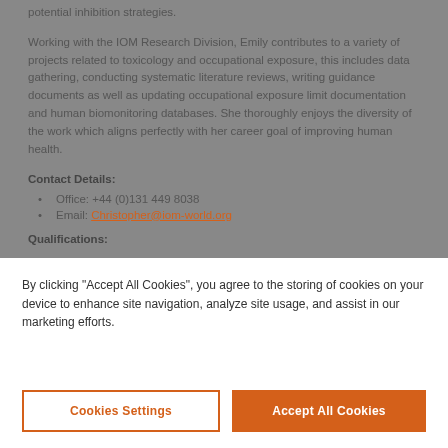potential inhibition strategies.
Working with the IOM Research Division, Emily contributes to a variety of projects related to toxicology and occupational exposure, this includes data gathering, conducting systematic literature reviews, writing guidance documents as well as updating occupational exposure limit documentation and human biomonitoring databases. She thoroughly enjoys the diversity of the work which aligns perfectly with her career goal of improving human health.
Contact Details:
Office: +44 (0)131 449 8038
Email: Christopher@iom-world.org
Qualifications:
By clicking "Accept All Cookies", you agree to the storing of cookies on your device to enhance site navigation, analyze site usage, and assist in our marketing efforts.